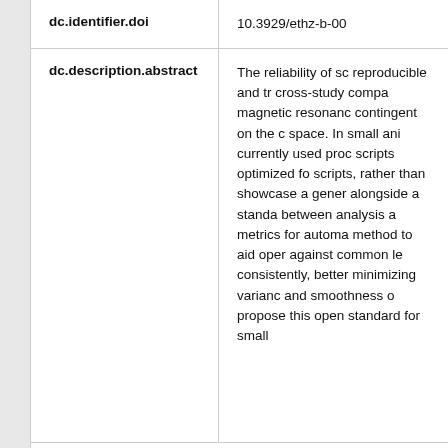| Field | Value |
| --- | --- |
| dc.identifier.doi | 10.3929/ethz-b-00 |
| dc.description.abstract | The reliability of sc reproducible and tr cross-study compa magnetic resonanc contingent on the c space. In small ani currently used proc scripts optimized fo scripts, rather than showcase a gener alongside a standa between analysis a metrics for automa method to aid oper against common le consistently, better minimizing varianc and smoothness o propose this open standard for small |